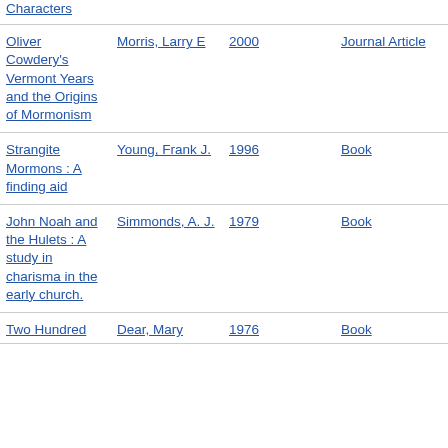| Title | Author | Year | Type |
| --- | --- | --- | --- |
| Characters |  |  |  |
| Oliver Cowdery's Vermont Years and the Origins of Mormonism | Morris, Larry E | 2000 | Journal Article |
| Strangite Mormons : A finding aid | Young, Frank J. | 1996 | Book |
| John Noah and the Hulets : A study in charisma in the early church. | Simmonds, A. J. | 1979 | Book |
| Two Hundred | Dear, Mary | 1976 | Book |